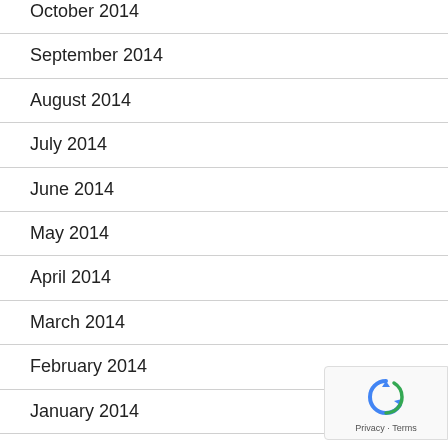October 2014
September 2014
August 2014
July 2014
June 2014
May 2014
April 2014
March 2014
February 2014
January 2014
December 2013
November 2013